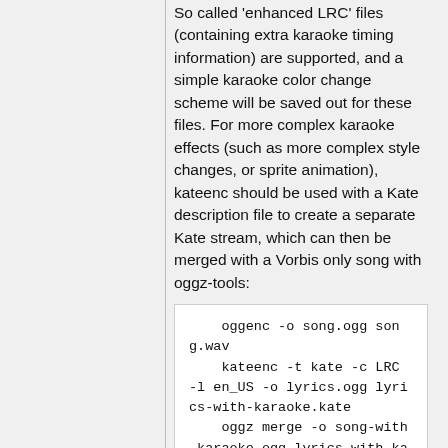So called 'enhanced LRC' files (containing extra karaoke timing information) are supported, and a simple karaoke color change scheme will be saved out for these files. For more complex karaoke effects (such as more complex style changes, or sprite animation), kateenc should be used with a Kate description file to create a separate Kate stream, which can then be merged with a Vorbis only song with oggz-tools:
oggenc -o song.ogg song.wav
    kateenc -t kate -c LRC -l en_US -o lyrics.ogg lyrics-with-karaoke.kate
    oggz merge -o song-with-karaoke.ogg lyrics-with-karaoke.ogg song.ogg